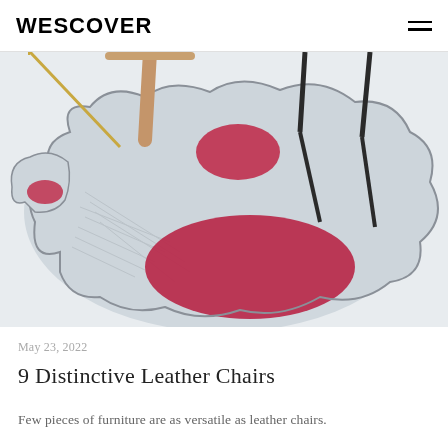WESCOVER
[Figure (photo): A light gray organic-shaped rug on a white floor with two crimson/red oval accent areas and thin dark line embroidery details. Wooden and metal chair legs are visible on the rug. The rug has an irregular, cloud-like shape.]
May 23, 2022
9 Distinctive Leather Chairs
Few pieces of furniture are as versatile as leather chairs.